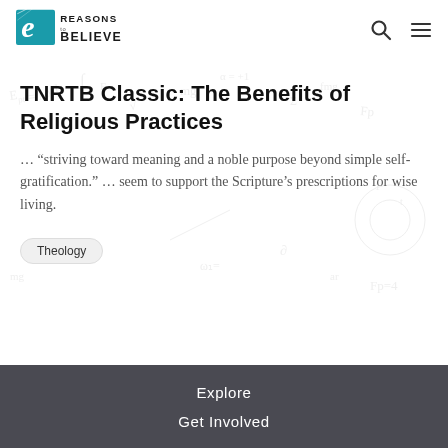Reasons to Believe
TNRTB Classic: The Benefits of Religious Practices
… “striving toward meaning and a noble purpose beyond simple self-gratification.” … seem to support the Scripture’s prescriptions for wise living.
Theology
Explore
Get Involved